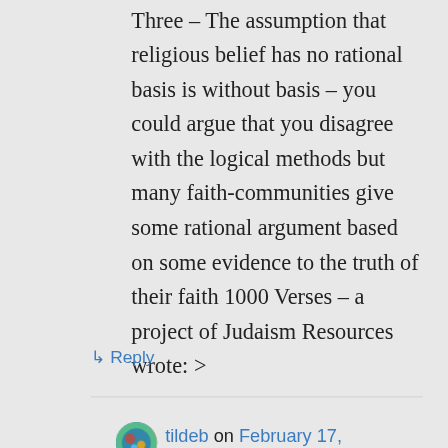Three – The assumption that religious belief has no rational basis is without basis – you could argue that you disagree with the logical methods but many faith-communities give some rational argument based on some evidence to the truth of their faith 1000 Verses – a project of Judaism Resources wrote: >
↳ Reply
tildeb on February 17,